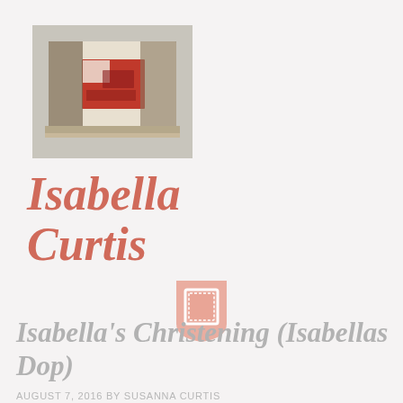[Figure (photo): Small square thumbnail image showing a colorful collage or artwork with red, brown, and white tones, resembling a mixed media piece or artwork]
Isabella Curtis
[Figure (logo): Pink/salmon colored shield or badge shape with a white stamp/frame icon inside it — blog logo or category icon]
Isabella's Christening (Isabellas Dop)
AUGUST 7, 2016 BY SUSANNA CURTIS
Saturday 8/6/2016 was Isabella's christening at Herrakra